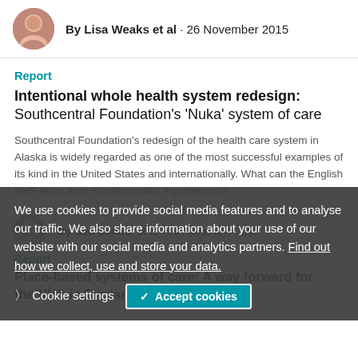By Lisa Weaks et al · 26 November 2015
Report
Intentional whole health system redesign: Southcentral Foundation's 'Nuka' system of care
Southcentral Foundation's redesign of the health care system in Alaska is widely regarded as one of the most successful examples of its kind in the United States and internationally. What can the English NHS learn from Southcentral's experiences?
By Ben Collins et al · 19 November 2015
Report
Place-based systems of care: A way forward for the NHS in England
We use cookies to provide social media features and to analyse our traffic. We also share information about your use of our website with our social media and analytics partners. Find out how we collect, use and store your data.
Cookie settings
✓ Accept cookies